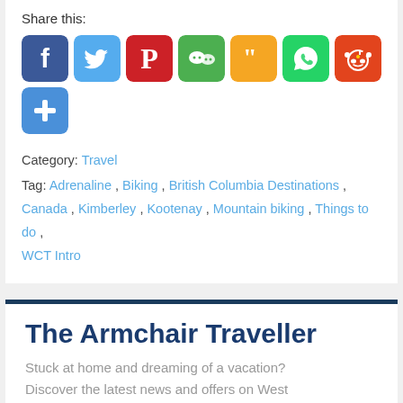Share this:
[Figure (infographic): Row of social media sharing icons: Facebook (blue), Twitter (light blue), Pinterest (red), WeChat (green), an orange icon, WhatsApp (green), Reddit (orange-red), and a blue plus/more icon]
Category: Travel
Tag: Adrenaline, Biking, British Columbia Destinations, Canada, Kimberley, Kootenay, Mountain biking, Things to do, WCT Intro
The Armchair Traveller
Stuck at home and dreaming of a vacation? Discover the latest news and offers on West Coast travel and start planning for future trips.
Email  Required